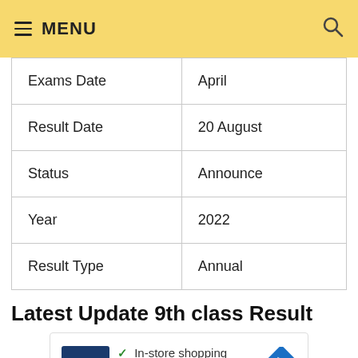≡ MENU
| Exams Date | April |
| Result Date | 20 August |
| Status | Announce |
| Year | 2022 |
| Result Type | Annual |
Latest Update 9th class Result
[Figure (other): Advertisement banner for Petco featuring checkmarks for In-store shopping and Curbside pickup, with a blue diamond arrow icon, and ad controls (play and close buttons)]